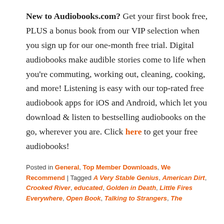New to Audiobooks.com? Get your first book free, PLUS a bonus book from our VIP selection when you sign up for our one-month free trial. Digital audiobooks make audible stories come to life when you're commuting, working out, cleaning, cooking, and more! Listening is easy with our top-rated free audiobook apps for iOS and Android, which let you download & listen to bestselling audiobooks on the go, wherever you are. Click here to get your free audiobooks!
Posted in General, Top Member Downloads, We Recommend | Tagged A Very Stable Genius, American Dirt, Crooked River, educated, Golden in Death, Little Fires Everywhere, Open Book, Talking to Strangers, The